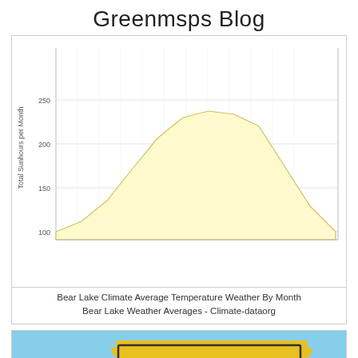Greenmsps Blog
[Figure (area-chart): Bear Lake Climate Average Temperature Weather By Month]
Bear Lake Climate Average Temperature Weather By Month
Bear Lake Weather Averages - Climate-dataorg
[Figure (photo): Photo of a Flintstones-themed welcome sign reading 'Yabba-Dabba-Do! Welcome!!' with a Fred Flintstone character statue, against a blue sky background. A 'CLOSE X' button overlay is visible at the bottom center.]